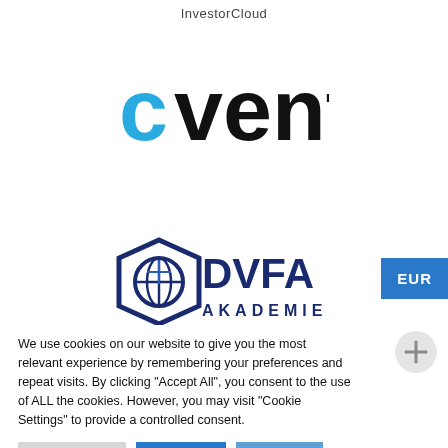InvestorCloud
[Figure (logo): Cvent logo in black and cyan text on white background]
[Figure (logo): DVFA Akademie logo with dark blue diamond-shaped icon and text]
We use cookies on our website to give you the most relevant experience by remembering your preferences and repeat visits. By clicking "Accept All", you consent to the use of ALL the cookies. However, you may visit "Cookie Settings" to provide a controlled consent.
Cookie Settings
Accept All
Read More